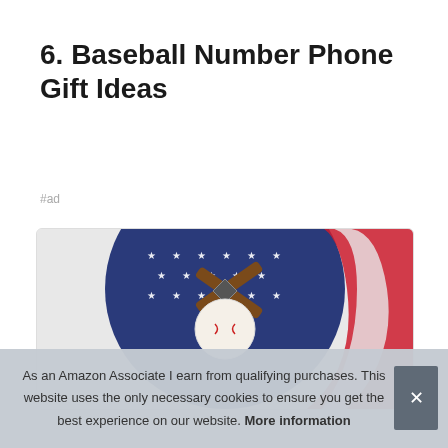6. Baseball Number Phone Gift Ideas
#ad
[Figure (photo): A round baseball phone case showing an American flag design with crossed bats and a baseball diamond motif.]
As an Amazon Associate I earn from qualifying purchases. This website uses the only necessary cookies to ensure you get the best experience on our website. More information